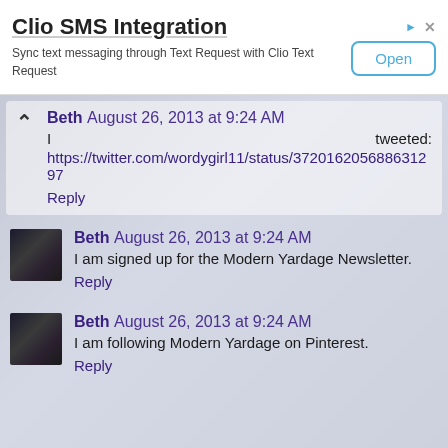[Figure (screenshot): Advertisement banner for Clio SMS Integration with Open button]
Beth August 26, 2013 at 9:24 AM
I tweeted: https://twitter.com/wordygirl11/status/372016205688631297
Reply
Beth August 26, 2013 at 9:24 AM
I am signed up for the Modern Yardage Newsletter.
Reply
Beth August 26, 2013 at 9:24 AM
I am following Modern Yardage on Pinterest.
Reply